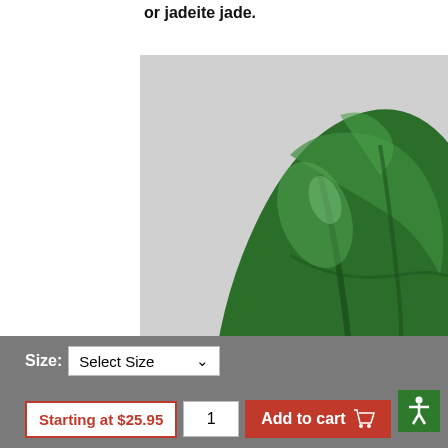or jadeite jade.
[Figure (photo): A polished green nephrite jade stone, smooth and rounded, dark green with lighter green veining, on a light gray background.]
Nephrite jade, (a silicate of calcium and magnesium), is the historical Chinese Jade, or Stone of Heaven, a stone revered by the Chinese for more than 5000 years. Nephrite is prized for its special qualities: its toughness, (the
Size: Select Size
Starting at $25.95
1
Add to cart